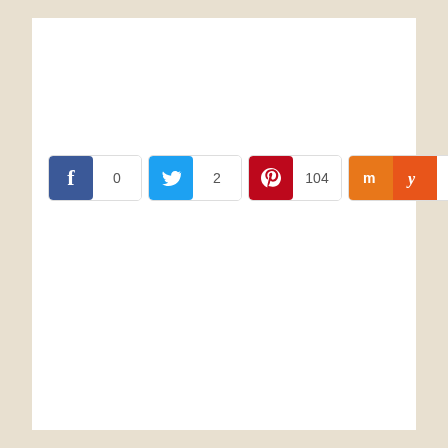[Figure (infographic): Social media share button bar with Facebook (0), Twitter (2), Pinterest (104), Mix, Yummly, and a count of 0 in an orange-themed bar.]